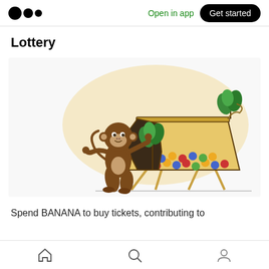Open in app | Get started
Lottery
[Figure (illustration): A cartoon brown monkey standing upright gesturing toward a lottery drum/cage on legs filled with colorful balls (blue, red, yellow), with green plants inside and on top. Beige circular background blob behind the scene.]
Spend BANANA to buy tickets, contributing to
Home | Search | Profile